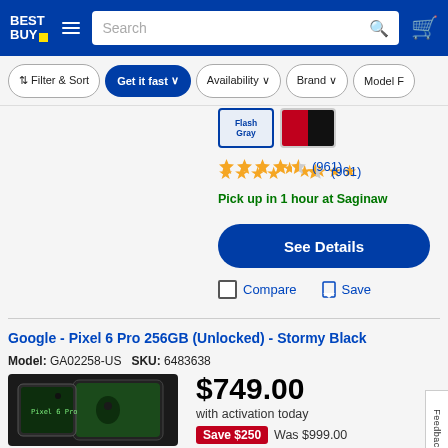Best Buy navigation bar with logo, hamburger menu, search bar, and cart icon
Filter & Sort   Get it fast   Availability   Brand   Model F
[Figure (screenshot): Color swatches: Flash Gray (selected, blue border) and a red/black swatch]
★★★★½ (961)
Pick up in 1 hour at Saginaw
See Details
Compare   Save
Google - Pixel 6 Pro 256GB (Unlocked) - Stormy Black
Model: GA02258-US   SKU: 6483638
[Figure (photo): Google Pixel 6 Pro phone in Stormy Black color, showing front and back]
$749.00 with activation today Save $250 Was $999.00